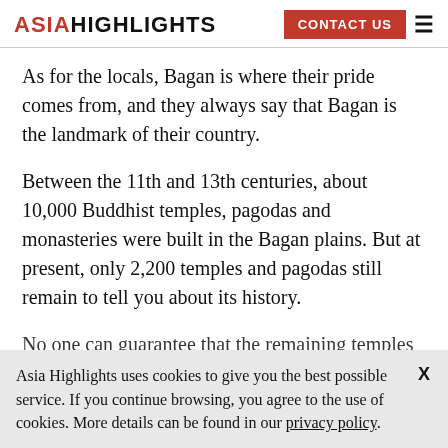ASIA HIGHLIGHTS | CONTACT US
As for the locals, Bagan is where their pride comes from, and they always say that Bagan is the landmark of their country.
Between the 11th and 13th centuries, about 10,000 Buddhist temples, pagodas and monasteries were built in the Bagan plains. But at present, only 2,200 temples and pagodas still remain to tell you about its history.
No one can guarantee that the remaining temples or
Asia Highlights uses cookies to give you the best possible service. If you continue browsing, you agree to the use of cookies. More details can be found in our privacy policy.